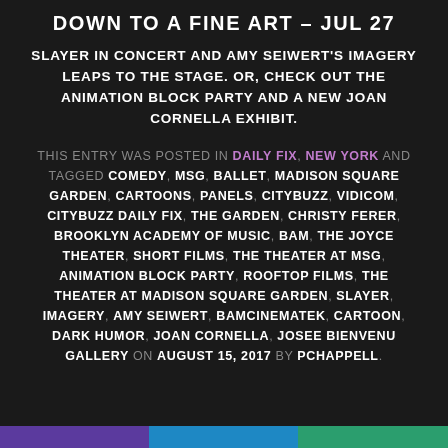DOWN TO A FINE ART – JUL 27
SLAYER IN CONCERT AND AMY SEIWERT'S IMAGERY LEAPS TO THE STAGE. OR, CHECK OUT THE ANIMATION BLOCK PARTY AND A NEW JOAN CORNELLA EXHIBIT.
THIS ENTRY WAS POSTED IN DAILY FIX, NEW YORK AND TAGGED COMEDY, MSG, BALLET, MADISON SQUARE GARDEN, CARTOONS, PANELS, CITYBUZZ, VIDICOM, CITYBUZZ DAILY FIX, THE GARDEN, CHRISTY FERER, BROOKLYN ACADEMY OF MUSIC, BAM, THE JOYCE THEATER, SHORT FILMS, THE THEATER AT MSG, ANIMATION BLOCK PARTY, ROOFTOP FILMS, THE THEATER AT MADISON SQUARE GARDEN, SLAYER, IMAGERY, AMY SEIWERT, BAMCINEMATEK, CARTOON, DARK HUMOR, JOAN CORNELLA, JOSEE BIENVENU GALLERY ON AUGUST 15, 2017 BY PCHAPPELL.
[Figure (other): Colored bar strip at bottom: purple, blue, green segments]